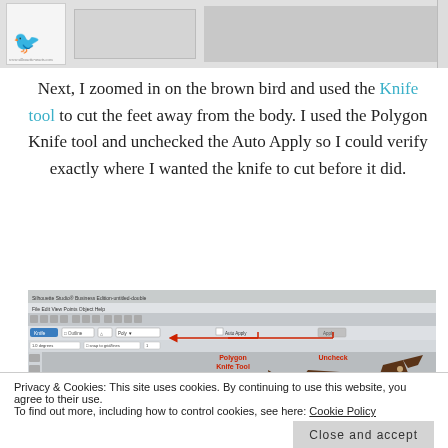[Figure (screenshot): Top partial screenshot showing a silhouette software application with a figure and gray placeholder boxes]
Next, I zoomed in on the brown bird and used the Knife tool to cut the feet away from the body. I used the Polygon Knife tool and unchecked the Auto Apply so I could verify exactly where I wanted the knife to cut before it did.
[Figure (screenshot): Screenshot of Silhouette Studio software showing toolbar with Knife Tool, Polygon Knife Tool selected, and Auto Apply unchecked. Annotations with red arrows point to Polygon Knife Tool, Uncheck, and Knife Tool. A brown bird silhouette is visible on the canvas.]
Privacy & Cookies: This site uses cookies. By continuing to use this website, you agree to their use. To find out more, including how to control cookies, see here: Cookie Policy
Once it is where you want, then click the Apply option in the